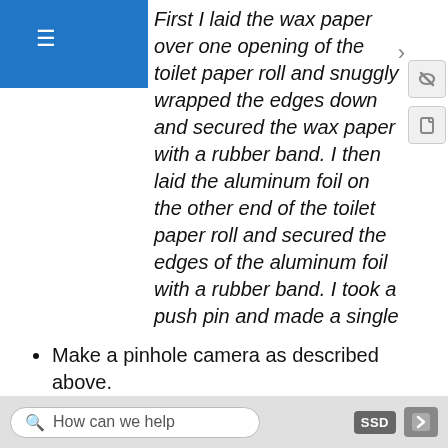First I laid the wax paper over one opening of the toilet paper roll and snuggly wrapped the edges down and secured the wax paper with a rubber band. I then laid the aluminum foil on the other end of the toilet paper roll and secured the edges of the aluminum foil with a rubber band. I took a push pin and made a single hole in the middle of the aluminum foil. I held the camera up so that the light from the light bulb on the table could shine through the pinhole in the aluminum foil and the wax paper faced me.
Physics student, Spring 2016
Make a pinhole camera as described above.
How can we help